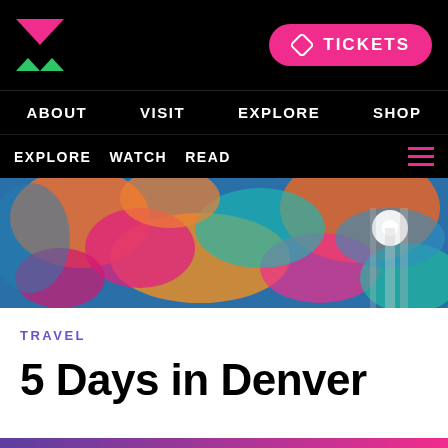ABOUT  VISIT  EXPLORE  SHOP
EXPLORE  WATCH  READ
[Figure (photo): Colorful swirling abstract mural with orange, blue, pink and teal colors, with a bright light in the center]
TRAVEL
5 Days in Denver